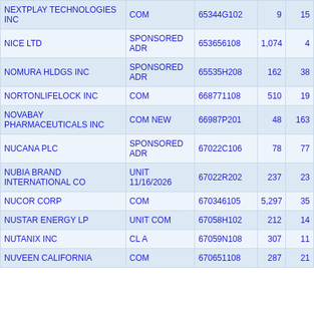| Name | Type | CUSIP | Col4 | Col5 |
| --- | --- | --- | --- | --- |
| NEXTPLAY TECHNOLOGIES INC | COM | 65344G102 | 9 | 15 |
| NICE LTD | SPONSORED ADR | 653656108 | 1,074 | 4 |
| NOMURA HLDGS INC | SPONSORED ADR | 65535H208 | 162 | 38 |
| NORTONLIFELOCK INC | COM | 668771108 | 510 | 19 |
| NOVABAY PHARMACEUTICALS INC | COM NEW | 66987P201 | 48 | 163 |
| NUCANA PLC | SPONSORED ADR | 67022C106 | 78 | 77 |
| NUBIA BRAND INTERNATIONAL CO | UNIT 11/16/2026 | 67022R202 | 237 | 23 |
| NUCOR CORP | COM | 670346105 | 5,297 | 35 |
| NUSTAR ENERGY LP | UNIT COM | 67058H102 | 212 | 14 |
| NUTANIX INC | CL A | 67059N108 | 307 | 11 |
| NUVEEN CALIFORNIA | COM | 670651108 | 287 | 21 |